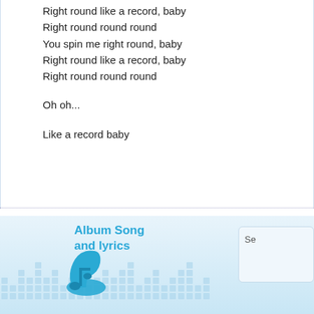Right round like a record, baby
Right round round round
You spin me right round, baby
Right round like a record, baby
Right round round round

Oh oh...

Like a record baby
[Figure (logo): Album Song and Lyrics website logo with music note and high-heel shoe icon in blue, with decorative blue grid/equalizer pattern background]
Se